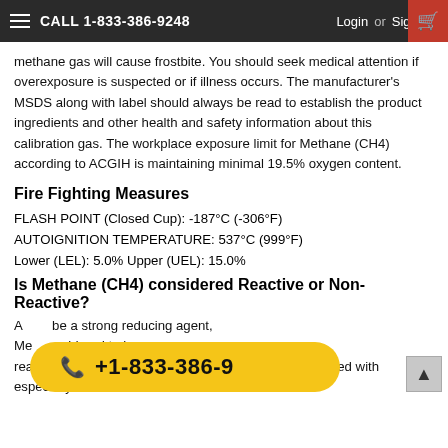CALL 1-833-386-9248  Login or Sign Up
methane gas will cause frostbite. You should seek medical attention if overexposure is suspected or if illness occurs. The manufacturer's MSDS along with label should always be read to establish the product ingredients and other health and safety information about this calibration gas. The workplace exposure limit for Methane (CH4) according to ACGIH is maintaining minimal 19.5% oxygen content.
Fire Fighting Measures
FLASH POINT (Closed Cup): -187°C (-306°F)
AUTOIGNITION TEMPERATURE: 537°C (999°F)
Lower (LEL): 5.0% Upper (UEL): 15.0%
Is Methane (CH4) considered Reactive or Non-Reactive?
A ... be a strong reducing agent, Me... nsidered to be non-reactive. Due to the potential of explosion when combined with especially